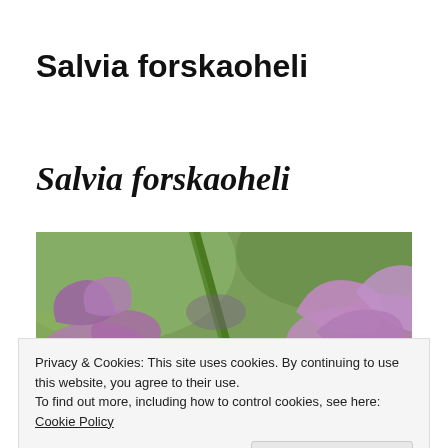Salvia forskaoheli
Salvia forskaoheli
[Figure (photo): Close-up photo of purple Salvia forskaoheli flowers with green stems against a blurred green background]
Privacy & Cookies: This site uses cookies. By continuing to use this website, you agree to their use.
To find out more, including how to control cookies, see here: Cookie Policy
Close and accept